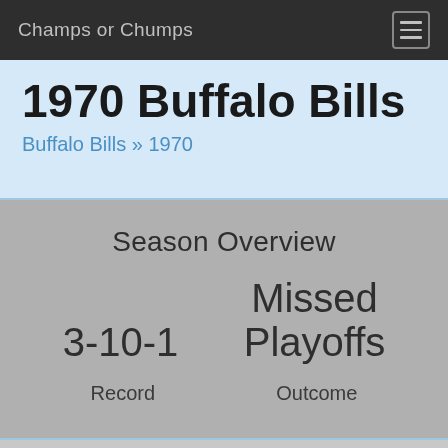Champs or Chumps
1970 Buffalo Bills
Buffalo Bills » 1970
Season Overview
| Record | Outcome |
| --- | --- |
| 3-10-1 | Missed Playoffs |